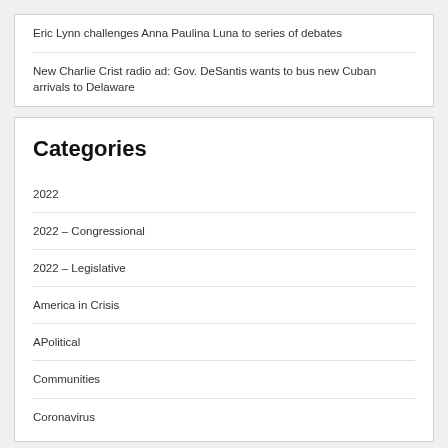Eric Lynn challenges Anna Paulina Luna to series of debates
New Charlie Crist radio ad: Gov. DeSantis wants to bus new Cuban arrivals to Delaware
Categories
2022
2022 – Congressional
2022 – Legislative
America in Crisis
APolitical
Communities
Coronavirus